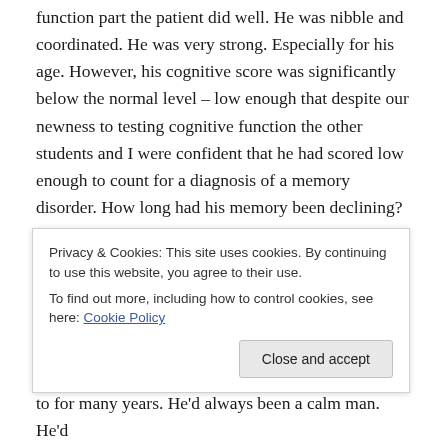function part the patient did well. He was nibble and coordinated. He was very strong. Especially for his age. However, his cognitive score was significantly below the normal level – low enough that despite our newness to testing cognitive function the other students and I were confident that he had scored low enough to count for a diagnosis of a memory disorder. How long had his memory been declining?
As I and the other medical students interviewed the patient, his wife interjected ever-so-politely when he
to for many years. He'd always been a calm man. He'd
Privacy & Cookies: This site uses cookies. By continuing to use this website, you agree to their use.
To find out more, including how to control cookies, see here: Cookie Policy